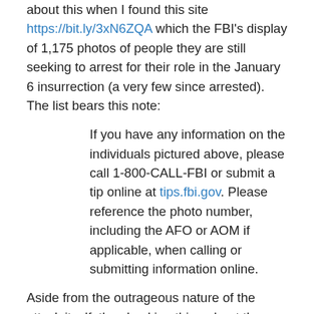about this when I found this site https://bit.ly/3xN6ZQA which the FBI's display of 1,175 photos of people they are still seeking to arrest for their role in the January 6 insurrection (a very few since arrested). The list bears this note:
If you have any information on the individuals pictured above, please call 1-800-CALL-FBI or submit a tip online at tips.fbi.gov. Please reference the photo number, including the AFO or AOM if applicable, when calling or submitting information online.
Aside from the outrageous nature of the attack itself, the shocking thing about these photos is that many of them are very clear, full face shots that could be identified readily by any number of friends, family, acquaintances, co-workers or customers. Still, however, these people are at large. I'm sure most people who read this blog will not know any of these charmers, but just in case, I am writing